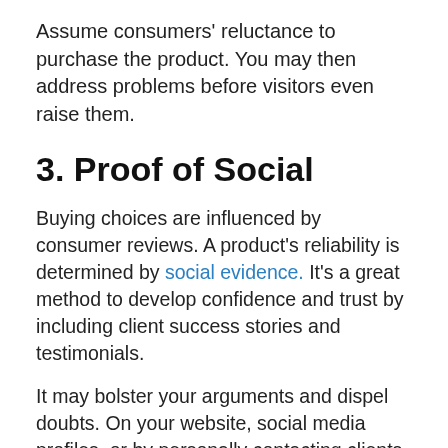Assume consumers' reluctance to purchase the product. You may then address problems before visitors even raise them.
3. Proof of Social
Buying choices are influenced by consumer reviews. A product's reliability is determined by social evidence. It's a great method to develop confidence and trust by including client success stories and testimonials.
It may bolster your arguments and dispel doubts. On your website, social media profiles, or by personally contacting clients may you obtain good evaluations.